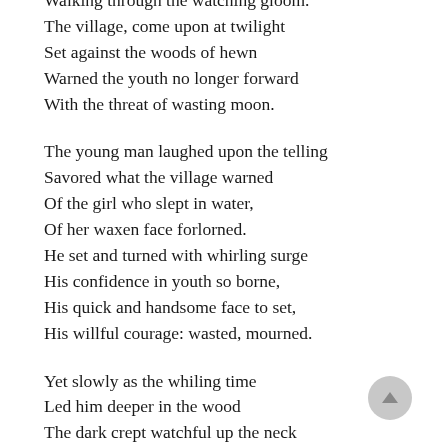Walking through the watching gloom.
The village, come upon at twilight
Set against the woods of hewn
Warned the youth no longer forward
With the threat of wasting moon.

The young man laughed upon the telling
Savored what the village warned
Of the girl who slept in water,
Of her waxen face forlorned.
He set and turned with whirling surge
His confidence in youth so borne,
His quick and handsome face to set,
His willful courage: wasted, mourned.

Yet slowly as the whiling time
Led him deeper in the wood
The dark crept watchful up the neck
Of wayfare's feet the prickling could
Of eyes with cautious sense he swept
His gaze to see what witness stood
To hear his whistling further hush